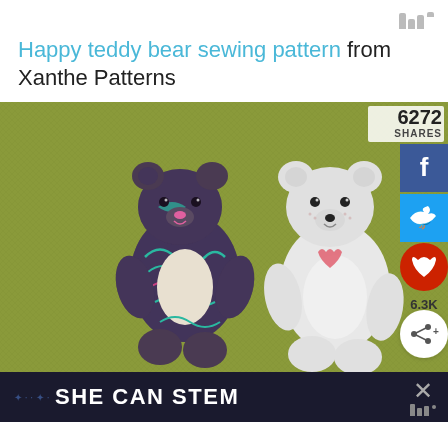Happy teddy bear sewing pattern from Xanthe Patterns
[Figure (photo): Two handmade teddy bears lying on a green fabric background. Left bear is dark grey/brown with colorful patterned fabric body and cream belly. Right bear is white/cream with embroidered details including a small heart on its chest. Share counter shows 6272 shares with Facebook, Twitter, heart (red), and share buttons on the right side.]
SHE CAN STEM